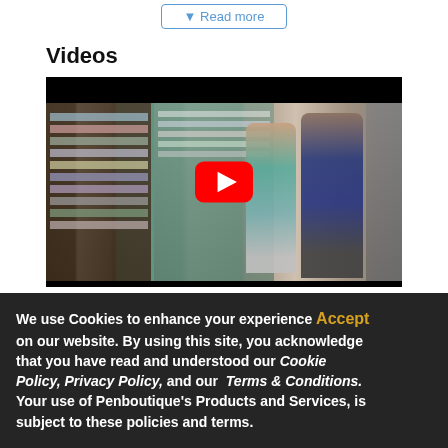Read more
Videos
[Figure (screenshot): YouTube video thumbnail showing a store interior with shelves of products. A woman in a teal blouse and a man in a navy polo shirt are visible in front of display cases. A YouTube play button (red rounded rectangle with white triangle) is centered over the image.]
We use Cookies to enhance your experience Accept on our website. By using this site, you acknowledge that you have read and understood our Cookie Policy, Privacy Policy, and our Terms & Conditions. Your use of Penboutique's Products and Services, is subject to these policies and terms.